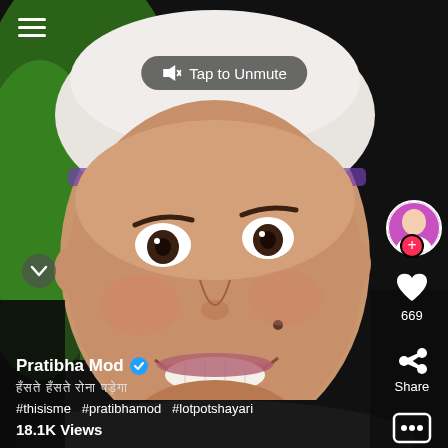[Figure (screenshot): TikTok/social media video screenshot showing a woman with a white headwrap smiling, green background visible behind her. Mobile UI overlay with hamburger menu, tap to unmute button, right sidebar with avatar, like, share, respond icons.]
Tap to Unmute
Pratibha Mod ✓
669
Share
Respond
#thisisme  #pratibhamod  #lotpotshayari
18.1K Views